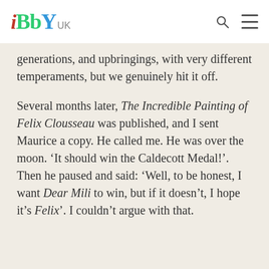iBbY UK
generations, and upbringings, with very different temperaments, but we genuinely hit it off.
Several months later, The Incredible Painting of Felix Clousseau was published, and I sent Maurice a copy. He called me. He was over the moon. ‘It should win the Caldecott Medal!’. Then he paused and said: ‘Well, to be honest, I want Dear Mili to win, but if it doesn’t, I hope it’s Felix’. I couldn’t argue with that.